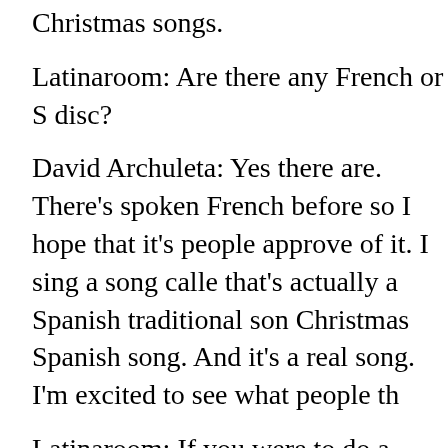Christmas songs.
Latinaroom: Are there any French or S disc?
David Archuleta: Yes there are. There's spoken French before so I hope that it's people approve of it. I sing a song calle that's actually a Spanish traditional son Christmas Spanish song. And it's a real song. I'm excited to see what people th
Latinaroom: If you were to do a duet, w with and why?
David Archuleta: I think it would be so Natasha Bedingfield. I think she's so ta big influence on me and I think it woul duet with Jordin Sparks sometime. She close to my age and she's just an amaz
Latinaroom: Would you do a reality TV